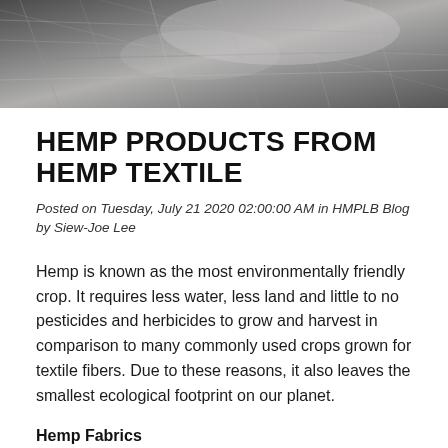[Figure (photo): Close-up photograph of hemp fibers/textile material in grayscale tones]
HEMP PRODUCTS FROM HEMP TEXTILE
Posted on Tuesday, July 21 2020 02:00:00 AM in HMPLB Blog by Siew-Joe Lee
Hemp is known as the most environmentally friendly crop. It requires less water, less land and little to no pesticides and herbicides to grow and harvest in comparison to many commonly used crops grown for textile fibers. Due to these reasons, it also leaves the smallest ecological footprint on our planet.
Hemp Fabrics
Almost all parts of the hemp plant can be used by us. The stem's core can be used to make building materials and